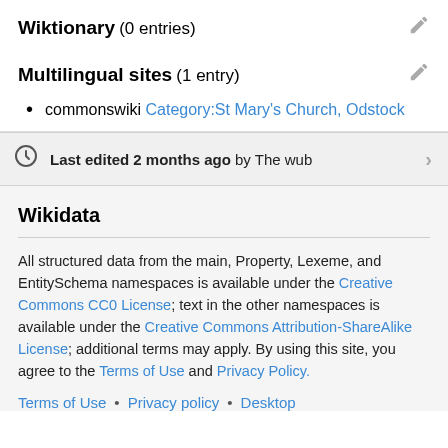Wiktionary (0 entries)
Multilingual sites (1 entry)
commonswiki Category:St Mary's Church, Odstock
Last edited 2 months ago by The wub
Wikidata
All structured data from the main, Property, Lexeme, and EntitySchema namespaces is available under the Creative Commons CC0 License; text in the other namespaces is available under the Creative Commons Attribution-ShareAlike License; additional terms may apply. By using this site, you agree to the Terms of Use and Privacy Policy.
Terms of Use • Privacy policy • Desktop